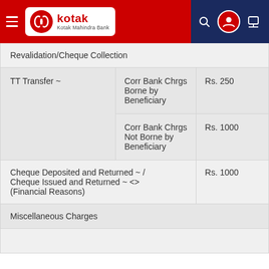Kotak Mahindra Bank
| Service | Sub-type | Charges |
| --- | --- | --- |
| Revalidation/Cheque Collection |  |  |
| TT Transfer ~ | Corr Bank Chrgs Borne by Beneficiary | Rs. 250 |
|  | Corr Bank Chrgs Not Borne by Beneficiary | Rs. 1000 |
| Cheque Deposited and Returned ~ / Cheque Issued and Returned ~ <> (Financial Reasons) |  | Rs. 1000 |
| Miscellaneous Charges |  |  |